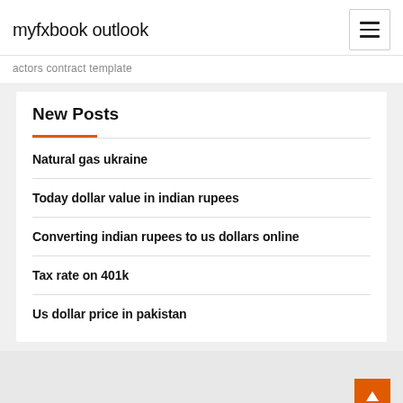myfxbook outlook
actors contract template
New Posts
Natural gas ukraine
Today dollar value in indian rupees
Converting indian rupees to us dollars online
Tax rate on 401k
Us dollar price in pakistan